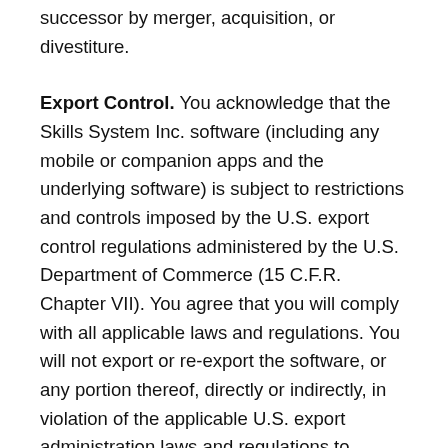successor by merger, acquisition, or divestiture.
Export Control. You acknowledge that the Skills System Inc. software (including any mobile or companion apps and the underlying software) is subject to restrictions and controls imposed by the U.S. export control regulations administered by the U.S. Department of Commerce (15 C.F.R. Chapter VII). You agree that you will comply with all applicable laws and regulations. You will not export or re-export the software, or any portion thereof, directly or indirectly, in violation of the applicable U.S. export administration laws and regulations to